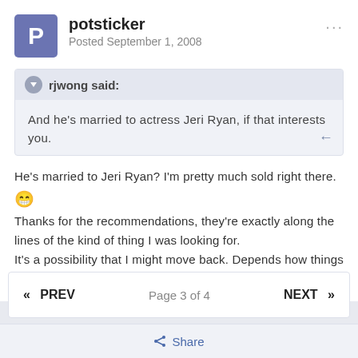potsticker
Posted September 1, 2008
rjwong said:
And he's married to actress Jeri Ryan, if that interests you.
He's married to Jeri Ryan? I'm pretty much sold right there. 😁 Thanks for the recommendations, they're exactly along the lines of the kind of thing I was looking for. It's a possibility that I might move back. Depends how things go...
« PREV   Page 3 of 4   NEXT »
Share